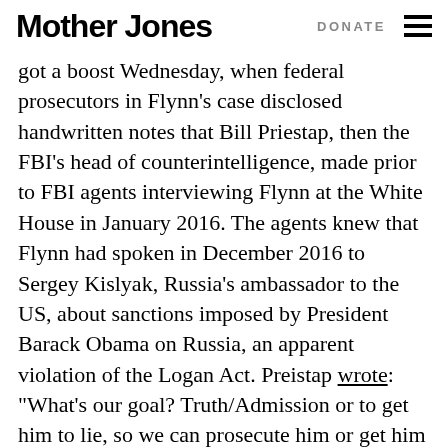Mother Jones | DONATE
got a boost Wednesday, when federal prosecutors in Flynn's case disclosed handwritten notes that Bill Priestap, then the FBI's head of counterintelligence, made prior to FBI agents interviewing Flynn at the White House in January 2016. The agents knew that Flynn had spoken in December 2016 to Sergey Kislyak, Russia's ambassador to the US, about sanctions imposed by President Barack Obama on Russia, an apparent violation of the Logan Act. Preistap wrote: “What’s our goal? Truth/Admission or to get him to lie, so we can prosecute him or get him fired?”
“Those lies materially impaired the